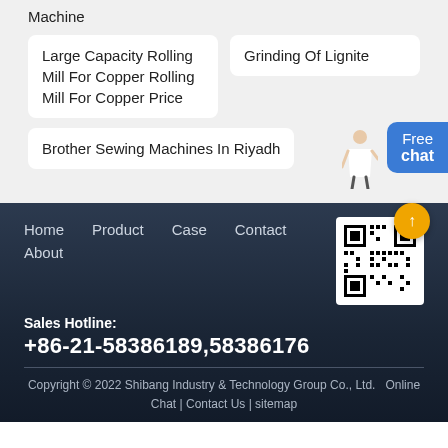Machine
Large Capacity Rolling Mill For Copper Rolling Mill For Copper Price
Grinding Of Lignite
Brother Sewing Machines In Riyadh
Home   Product   Case   Contact   About
Sales Hotline: +86-21-58386189,58386176
Copyright © 2022 Shibang Industry & Technology Group Co., Ltd.  Online Chat | Contact Us | sitemap